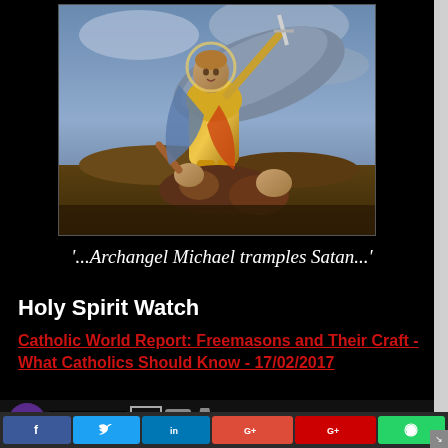[Figure (illustration): Classic painting of Archangel Michael in golden armor with wings, raising a sword and trampling Satan beneath his feet, set against a dramatic sky background. Renaissance-style religious painting.]
'...Archangel Michael tramples Satan...'
Holy Spirit Watch
Catholic World Report: Freemasons and Their Craft - What Catholics Should Know - 17/02/2017
[Figure (screenshot): Bottom bar with purple eye icon, Freemasonry Watch logo text, masonic square-and-compass icon with skull and chalice, followed by partial red link text 'the Vatican as Pope']
Social media sharing buttons: Facebook, Twitter, LinkedIn, Google+, Google, WhatsApp